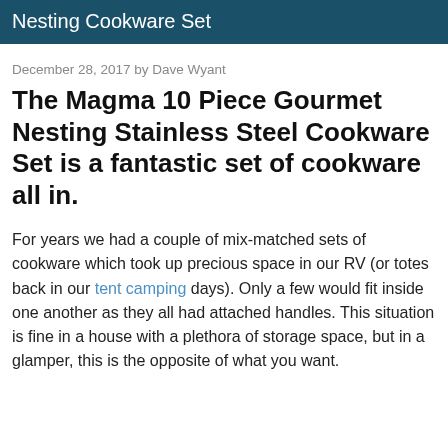Nesting Cookware Set
December 28, 2017 by Dave Wyant
The Magma 10 Piece Gourmet Nesting Stainless Steel Cookware Set is a fantastic set of cookware all in.
For years we had a couple of mix-matched sets of cookware which took up precious space in our RV (or totes back in our tent camping days). Only a few would fit inside one another as they all had attached handles. This situation is fine in a house with a plethora of storage space, but in a glamper, this is the opposite of what you want.